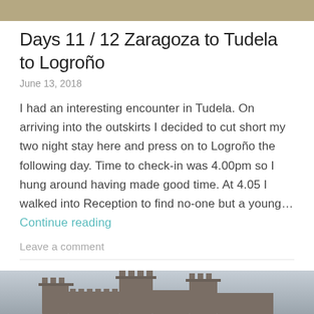[Figure (photo): Top portion of a landscape photo showing dry grassy terrain]
Days 11 / 12 Zaragoza to Tudela to Logroño
June 13, 2018
I had an interesting encounter in Tudela. On arriving into the outskirts I decided to cut short my two night stay here and press on to Logroño the following day. Time to check-in was 4.00pm so I hung around having made good time. At 4.05 I walked into Reception to find no-one but a young… Continue reading
Leave a comment
[Figure (photo): Bottom portion showing a castle or medieval fortress with towers against a light sky]